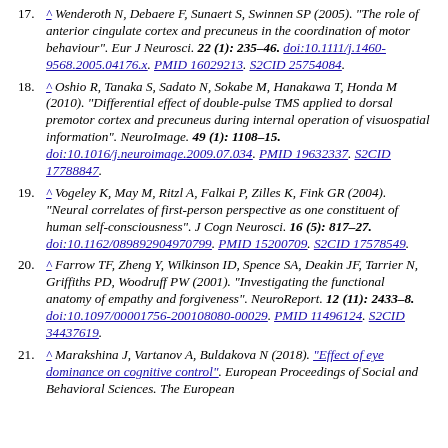17. ^ Wenderoth N, Debaere F, Sunaert S, Swinnen SP (2005). "The role of anterior cingulate cortex and precuneus in the coordination of motor behaviour". Eur J Neurosci. 22 (1): 235–46. doi:10.1111/j.1460-9568.2005.04176.x. PMID 16029213. S2CID 25754084.
18. ^ Oshio R, Tanaka S, Sadato N, Sokabe M, Hanakawa T, Honda M (2010). "Differential effect of double-pulse TMS applied to dorsal premotor cortex and precuneus during internal operation of visuospatial information". NeuroImage. 49 (1): 1108–15. doi:10.1016/j.neuroimage.2009.07.034. PMID 19632337. S2CID 17788847.
19. ^ Vogeley K, May M, Ritzl A, Falkai P, Zilles K, Fink GR (2004). "Neural correlates of first-person perspective as one constituent of human self-consciousness". J Cogn Neurosci. 16 (5): 817–27. doi:10.1162/089892904970799. PMID 15200709. S2CID 17578549.
20. ^ Farrow TF, Zheng Y, Wilkinson ID, Spence SA, Deakin JF, Tarrier N, Griffiths PD, Woodruff PW (2001). "Investigating the functional anatomy of empathy and forgiveness". NeuroReport. 12 (11): 2433–8. doi:10.1097/00001756-200108080-00029. PMID 11496124. S2CID 34437619.
21. ^ Marakshina J, Vartanov A, Buldakova N (2018). "Effect of eye dominance on cognitive control". European Proceedings of Social and Behavioral Sciences. The European